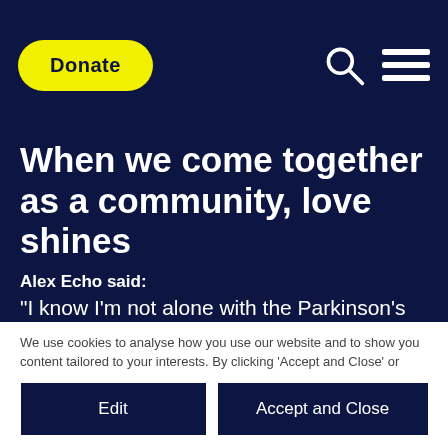Donate
When we come together as a community, love shines
Alex Echo said:
"I know I'm not alone with the Parkinson's
We use cookies to analyse how you use our website and to show you content tailored to your interests. By clicking 'Accept and Close' or clicking on a new page, you consent to our use of cookies. You can edit your preferences by clicking on 'Edit'. View our cookies policy
Edit
Accept and Close